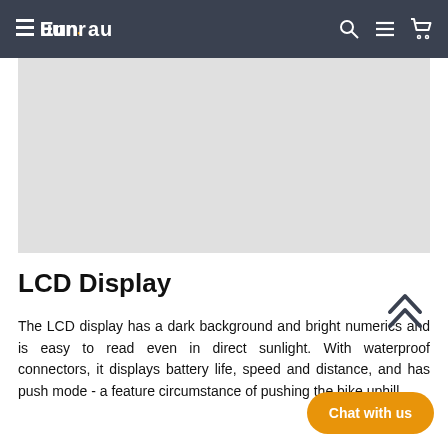EUNORAU
[Figure (photo): Light gray placeholder image area for an LCD display product photo]
LCD Display
The LCD display has a dark background and bright numerics and is easy to read even in direct sunlight. With waterproof connectors, it displays battery life, speed and distance, and has push mode - a feature circumstance of pushing the bike uphill